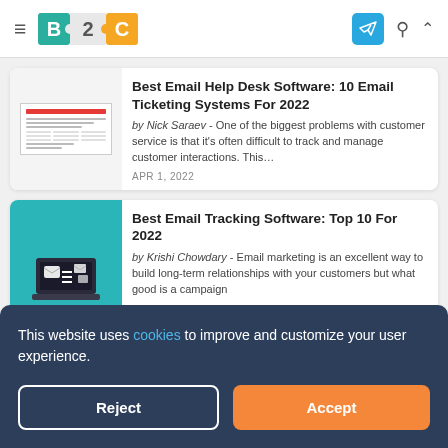B2C — Business 2 Community navigation bar
Best Email Help Desk Software: 10 Email Ticketing Systems For 2022
by Nick Saraev - One of the biggest problems with customer service is that it's often difficult to track and manage customer interactions. This…
APR 1, 2022
Best Email Tracking Software: Top 10 For 2022
by Krishi Chowdary - Email marketing is an excellent way to build long-term relationships with your customers but what good is a campaign
This website uses cookies to improve and customize your user experience.
Reject
Accept
by Krishi Chowdary - As Forex continues to grow in popularity, more people are looking for new